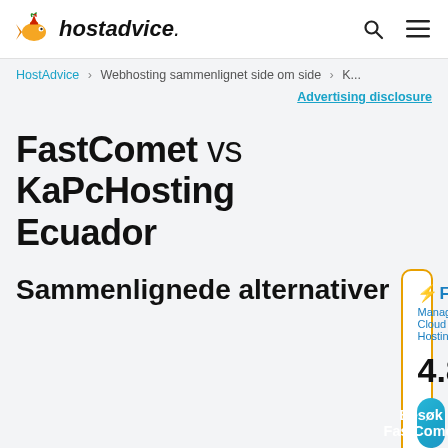hostadvice.
HostAdvice > Webhosting sammenlignet side om side > K...
Advertising disclosure
FastComet vs KaPcHosting Ecuador
Sammenlignede alternativer
FASTCOMET Managed Cloud Hosting
4.8 ★★★★★ 1387 omtaler
Besøk FastComet